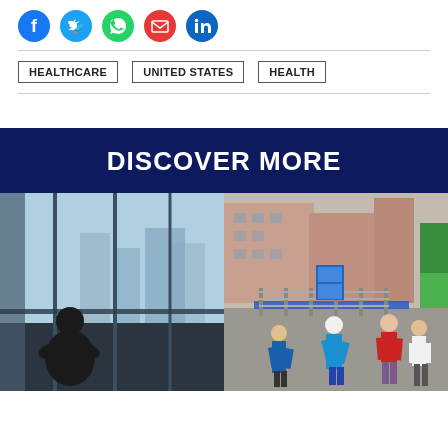[Figure (other): Row of social media share icons: Facebook (blue circle), Twitter (light blue circle), WhatsApp (green circle), Email/mail (red envelope circle), LinkedIn (blue circle)]
HEALTHCARE   UNITED STATES   HEALTH
DISCOVER MORE
[Figure (photo): Person sitting alone in silhouette near large windows with city view in background – moody, blue-toned photo]
[Figure (photo): Street scene in China showing people in blue scrubs/uniforms near a barricaded entrance to what appears to be a market or hospital area; buildings in background]